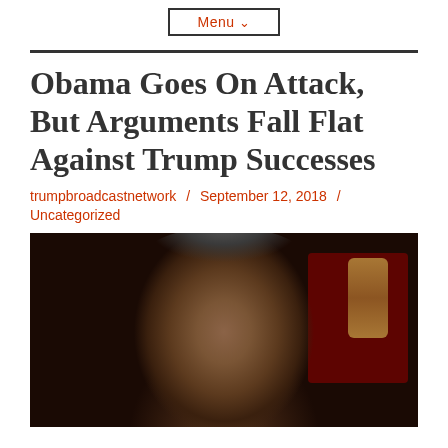Menu
Obama Goes On Attack, But Arguments Fall Flat Against Trump Successes
trumpbroadcastnetwork / September 12, 2018 / Uncategorized
[Figure (photo): Close-up photograph of Barack Obama gesturing with his hand raised, against a dark background with red and gold elements visible]